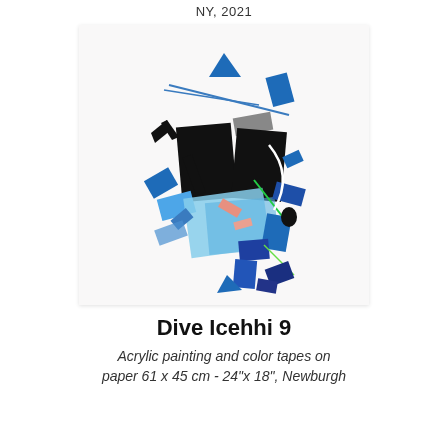NY, 2021
[Figure (illustration): Abstract artwork titled 'Dive Icehhi 9' featuring scattered geometric shapes — rectangles, triangles, and angular fragments in black, blue (various shades), gray, pink/salmon, and green, collaged dynamically on a white/light background suggesting acrylic painting and color tape collage.]
Dive Icehhi 9
Acrylic painting and color tapes on paper 61 x 45 cm - 24"x 18", Newburgh